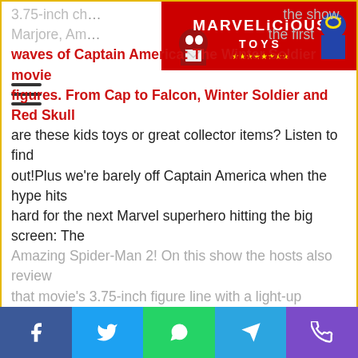[Figure (illustration): Marvelicious Toys banner with Deadpool and other Marvel characters on red background]
3.75-inch ch... the show. Marjore, Am... the first waves of Captain America: The Winter Soldier movie figures. From Cap to Falcon, Winter Soldier and Red Skull are these kids toys or great collector items? Listen to find out!Plus we're barely off Captain America when the hype hits hard for the next Marvel superhero hitting the big screen: The Amazing Spider-Man 2! On this show the hosts also review that movie's 3.75-inch figure line with a light-up Electro and a...
[Figure (other): Show More button with chevron icon]
[Figure (illustration): Generic user avatar placeholder (grey circle/ring shape)]
[Figure (infographic): Social media sharing bar with Facebook, Twitter, WhatsApp, Telegram, and Phone buttons]